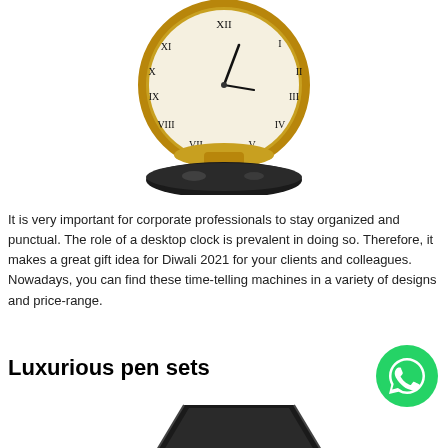[Figure (photo): A gold ornate desk clock with Roman numeral face, sitting on a black base, photographed on white background]
It is very important for corporate professionals to stay organized and punctual. The role of a desktop clock is prevalent in doing so. Therefore, it makes a great gift idea for Diwali 2021 for your clients and colleagues. Nowadays, you can find these time-telling machines in a variety of designs and price-range.
Luxurious pen sets
[Figure (logo): WhatsApp green circular logo icon]
[Figure (photo): A black pen set case/holder photographed on white background, partially visible at bottom of page]